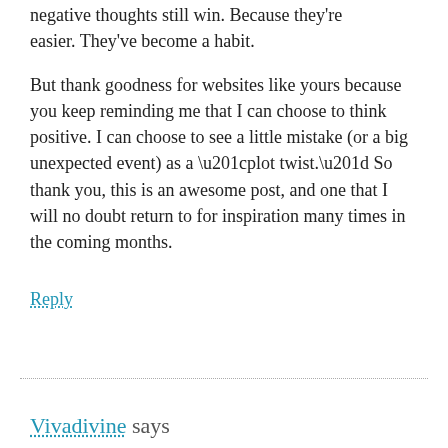negative thoughts still win. Because they're easier. They've become a habit.
But thank goodness for websites like yours because you keep reminding me that I can choose to think positive. I can choose to see a little mistake (or a big unexpected event) as a “plot twist.” So thank you, this is an awesome post, and one that I will no doubt return to for inspiration many times in the coming months.
Reply
Vivadivine says